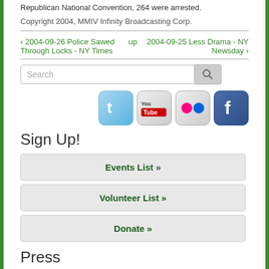Republican National Convention, 264 were arrested.
Copyright 2004, MMIV Infinity Broadcasting Corp.
‹ 2004-09-26 Police Sawed Through Locks - NY Times   up   2004-09-25 Less Drama - NY Newsday ›
[Figure (screenshot): Search input field with search button icon]
[Figure (infographic): Social media icons: Twitter, YouTube, Flickr, Facebook]
Sign Up!
Events List »
Volunteer List »
Donate »
Press
Press Releases
Press Coverage 2013